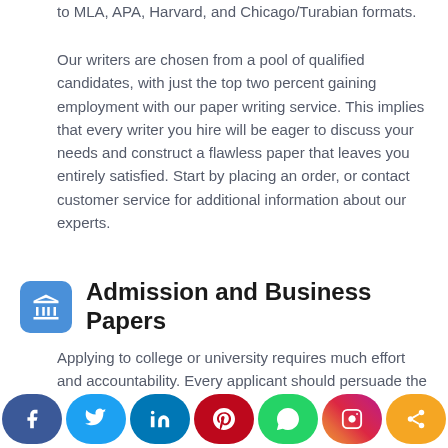to MLA, APA, Harvard, and Chicago/Turabian formats.
Our writers are chosen from a pool of qualified candidates, with just the top two percent gaining employment with our paper writing service. This implies that every writer you hire will be eager to discuss your needs and construct a flawless paper that leaves you entirely satisfied. Start by placing an order, or contact customer service for additional information about our experts.
Admission and Business Papers
Applying to college or university requires much effort and accountability. Every applicant should persuade the admissions committee with their reasons for